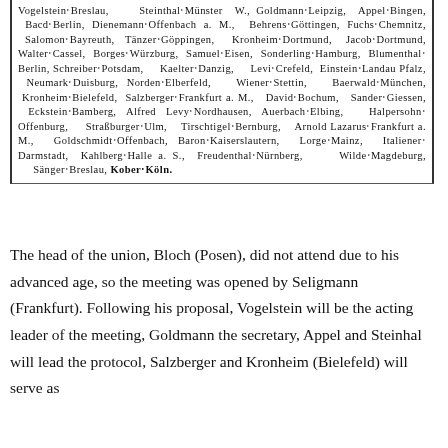Vogelstein-Breslau, Steinthal-Münster W., Goldmann-Leipzig, Appel-Bingen, Bacd-Berlin, Dienemann-Offenbach a. M., Behrens-Göttingen, Fuchs-Chemnitz, Salomon-Bayreuth, Tänzer-Göppingen, Kronheim-Dortmund, Jacob-Dortmund, Walter-Cassel, Borges-Würzburg, Samuel-Eisen, Sonderling-Hamburg, Blumenthal-Berlin, Schreiber-Potsdam, Kaelter-Danzig, Levi-Crefeld, Einstein-Landau Pfalz, Neumark-Duisburg, Norden-Elberfeld, Wiener-Stettin, Baerwald-München, Kronheim-Bielefeld, Salzberger-Frankfurt a. M., David-Bochum, Sander-Giessen, Eckstein-Bamberg, Alfred Levy-Nordhausen, Auerbach-Elbing, Halpersohn-Offenburg, Straßburger-Ulm, Tirschtigel-Bernburg, Arnold Lazarus-Frankfurt a. M., Goldschmidt-Offenbach, Baron-Kaiserslautern, Lorge-Mainz, Italiener-Darmstadt, Kahlberg-Halle a. S., Freudenthal-Nürnberg, Wilde-Magdeburg, Sänger-Breslau, Kober-Köln.
The head of the union, Bloch (Posen), did not attend due to his advanced age, so the meeting was opened by Seligmann (Frankfurt). Following his proposal, Vogelstein will be the acting leader of the meeting, Goldmann the secretary, Appel and Steinhal will lead the protocol, Salzberger and Kronheim (Bielefeld) will serve as